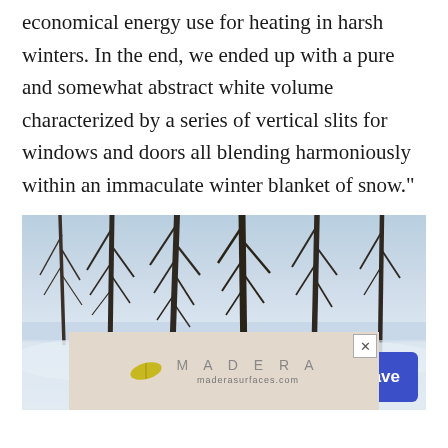economical energy use for heating in harsh winters. In the end, we ended up with a pure and somewhat abstract white volume characterized by a series of vertical slits for windows and doors all blending harmoniously within an immaculate winter blanket of snow."
[Figure (photo): Winter landscape photo showing snow-covered bare trees against a pale blue-grey sky, with a snow-covered ground. UI overlay buttons: a share/upload icon button and a blue 'Save' button with a heart icon. An advertisement banner for 'MADERA / maderasurfaces.com' overlaps the bottom of the image.]